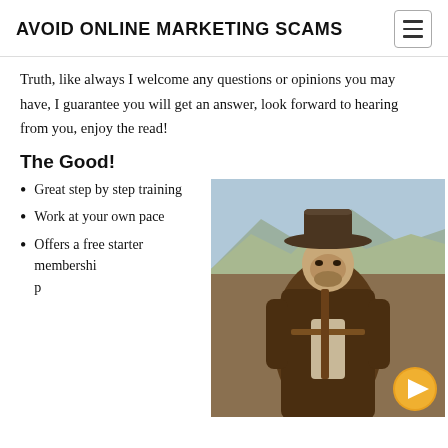AVOID ONLINE MARKETING SCAMS
Truth, like always I welcome any questions or opinions you may have, I guarantee you will get an answer, look forward to hearing from you, enjoy the read!
The Good!
Great step by step training
Work at your own pace
Offers a free starter membership
[Figure (photo): A cowboy figure wearing a wide-brimmed hat and a poncho, standing in a western/desert landscape with mountains in the background. A gold circular play button is visible in the bottom right corner of the image.]